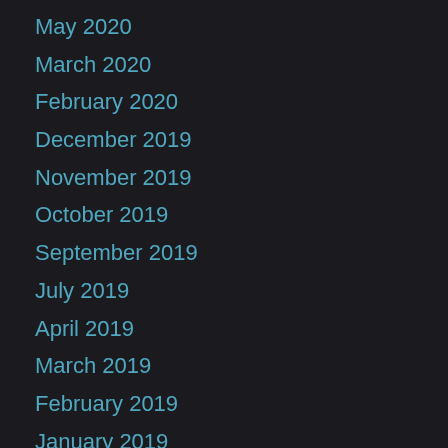May 2020
March 2020
February 2020
December 2019
November 2019
October 2019
September 2019
July 2019
April 2019
March 2019
February 2019
January 2019
December 2018
November 2018
October 2018
September 2018
August 2018
July 2018